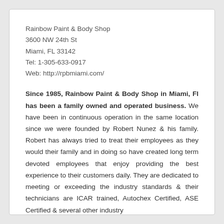Rainbow Paint & Body Shop
3600 NW 24th St
Miami, FL 33142
Tel: 1-305-633-0917
Web: http://rpbmiami.com/
Since 1985, Rainbow Paint & Body Shop in Miami, Fl has been a family owned and operated business. We have been in continuous operation in the same location since we were founded by Robert Nunez & his family. Robert has always tried to treat their employees as they would their family and in doing so have created long term devoted employees that enjoy providing the best experience to their customers daily. They are dedicated to meeting or exceeding the industry standards & their technicians are ICAR trained, Autochex Certified, ASE Certified & several other industry